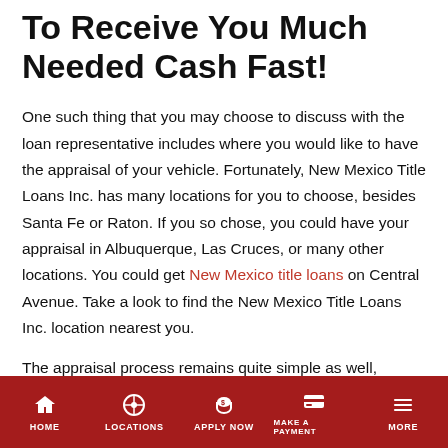To Receive You Much Needed Cash Fast!
One such thing that you may choose to discuss with the loan representative includes where you would like to have the appraisal of your vehicle. Fortunately, New Mexico Title Loans Inc. has many locations for you to choose, besides Santa Fe or Raton. If you so chose, you could have your appraisal in Albuquerque, Las Cruces, or many other locations. You could get New Mexico title loans on Central Avenue. Take a look to find the New Mexico Title Loans Inc. location nearest you.
The appraisal process remains quite simple as well, because you could be in and out, with the title loans Raton residents need, in around a half hour. Convenience remains a major factor to why
HOME   LOCATIONS   APPLY NOW   MAKE A PAYMENT   MORE